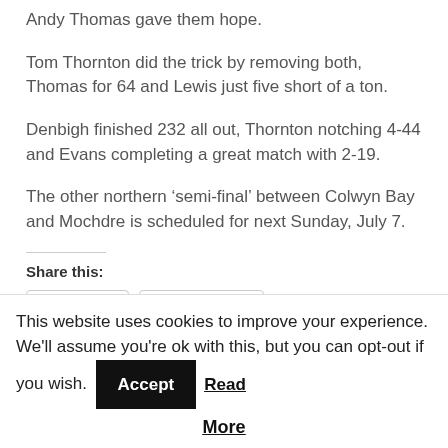Andy Thomas gave them hope.
Tom Thornton did the trick by removing both, Thomas for 64 and Lewis just five short of a ton.
Denbigh finished 232 all out, Thornton notching 4-44 and Evans completing a great match with 2-19.
The other northern ‘semi-final’ between Colwyn Bay and Mochdre is scheduled for next Sunday, July 7.
Share this:
Twitter  Facebook
This website uses cookies to improve your experience. We'll assume you're ok with this, but you can opt-out if you wish. Accept Read More